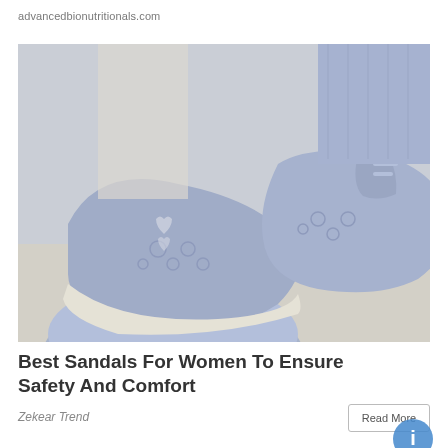advancedbionutritionals.com
[Figure (photo): Close-up photo of a woman's feet wearing blue embroidered flat shoes/sandals with cutout detail, with jeans visible at the ankle on the right foot, placed on a wooden or textured surface.]
Best Sandals For Women To Ensure Safety And Comfort
Zekear Trend
[Figure (photo): Partial view of a second article image at the bottom of the page, showing what appears to be a logo or graphic with layered arc/wave shapes on a light gray background.]